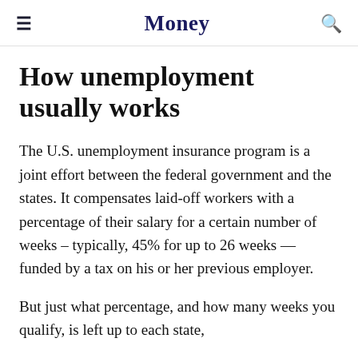Money
How unemployment usually works
The U.S. unemployment insurance program is a joint effort between the federal government and the states. It compensates laid-off workers with a percentage of their salary for a certain number of weeks – typically, 45% for up to 26 weeks — funded by a tax on his or her previous employer.
But just what percentage, and how many weeks you qualify, is left up to each state,